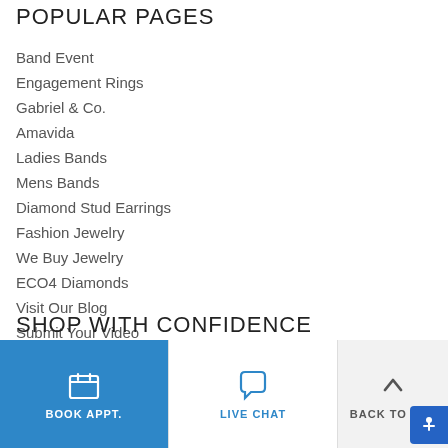POPULAR PAGES
Band Event
Engagement Rings
Gabriel & Co.
Amavida
Ladies Bands
Mens Bands
Diamond Stud Earrings
Fashion Jewelry
We Buy Jewelry
ECO4 Diamonds
Visit Our Blog
Submit Your Video
SHOP WITH CONFIDENCE
BOOK APPT. | LIVE CHAT | BACK TO TOP